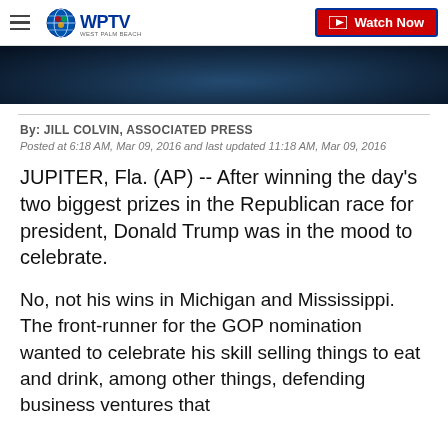WPTV - Watch Now
[Figure (photo): Dark blue toned photo strip, partial view of a person or background image]
By: JILL COLVIN, ASSOCIATED PRESS
Posted at 6:18 AM, Mar 09, 2016 and last updated 11:18 AM, Mar 09, 2016
JUPITER, Fla. (AP) -- After winning the day's two biggest prizes in the Republican race for president, Donald Trump was in the mood to celebrate.
No, not his wins in Michigan and Mississippi. The front-runner for the GOP nomination wanted to celebrate his skill selling things to eat and drink, among other things, defending business ventures that